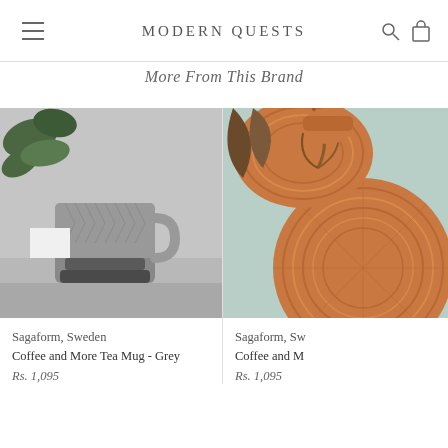MODERN QUESTS
More From This Brand
[Figure (photo): Grey ceramic coffee mug with geometric diamond pattern texture and a handle, placed on a wooden board with a plant in the background and coffee beans scattered around]
Sagaform, Sweden
Coffee and More Tea Mug - Grey
Rs. 1,095
[Figure (photo): Partial view of copper/rose gold colored plates and a plant arrangement on a light blue-green surface]
Sagaform, Sw
Coffee and M
Rs. 1,095